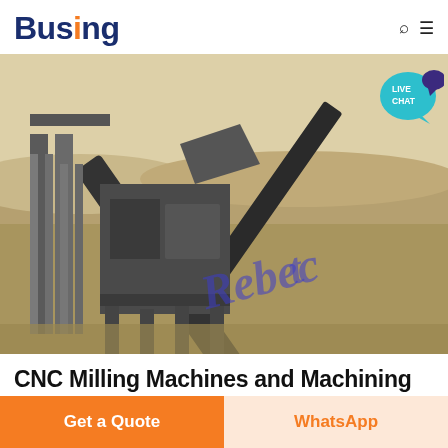Busing
[Figure (photo): Industrial mining or crushing machine with conveyor belts on a desert/arid site, with a handwritten watermark signature overlay and a Live Chat bubble in the top-right corner.]
CNC Milling Machines and Machining
Get a Quote
WhatsApp